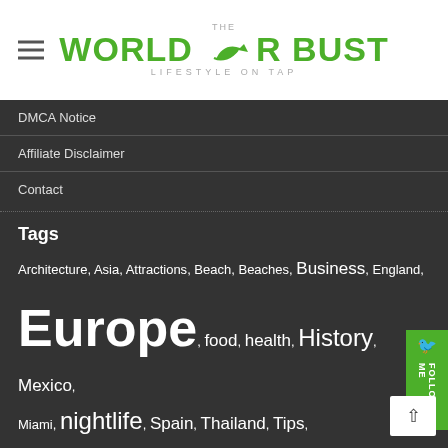THE WORLD OR BUST — LIFESTYLE ON TAP
DMCA Notice
Affiliate Disclaimer
Contact
Tags
Architecture, Asia, Attractions, Beach, Beaches, Business, England, Europe, food, health, History, Mexico, Miami, nightlife, Spain, Thailand, Tips, travel, travel tips, Trip, UK, United Kingdom, USA, Vacation, wellness,